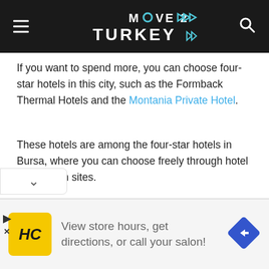MOVE 2 TURKEY
If you want to spend more, you can choose four-star hotels in this city, such as the Formback Thermal Hotels and the Montania Private Hotel.
These hotels are among the four-star hotels in Bursa, where you can choose freely through hotel reservation sites.
-Advertisement-
[Figure (screenshot): Advertisement banner: HC logo on yellow background, text 'View store hours, get directions, or call your salon!' with blue diamond arrow icon]